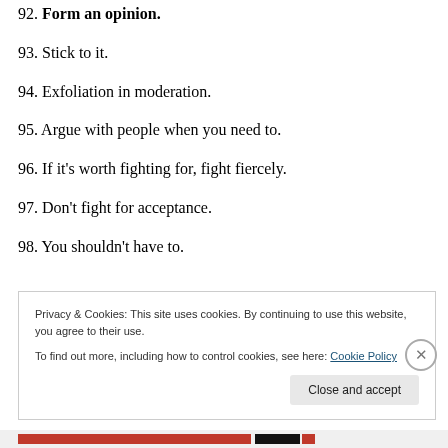92. Form an opinion.
93. Stick to it.
94. Exfoliation in moderation.
95. Argue with people when you need to.
96. If it's worth fighting for, fight fiercely.
97. Don't fight for acceptance.
98. You shouldn't have to.
Privacy & Cookies: This site uses cookies. By continuing to use this website, you agree to their use. To find out more, including how to control cookies, see here: Cookie Policy
Close and accept